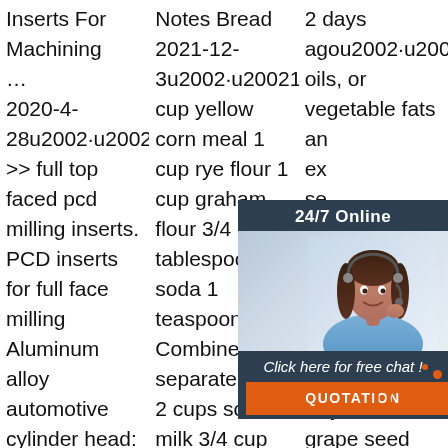Inserts For Machining ...
2020-4-28u2002·u2002Home
>> full top faced pcd milling inserts. PCD inserts for full face milling Aluminum alloy automotive cylinder head: Full top face milling pcd insert has a polycrystalline
Notes Bread
2021-12-3u2002·u20021 cup yellow corn meal 1 cup rye flour 1 cup graham flour 3/4 tablespoon soda 1 teaspoon salt Combine in a separate bowl: 2 cups sour milk 3/4 cup molasses 1 cup chopped
2 days agou2002·u2002 oils, or vegetable fats an ex se ot fru an ve an triglycerides. Soybean oil, grape seed oil, and cocoa butter are
[Figure (other): Live chat widget overlay with a customer service representative photo, '24/7 Online' header, 'Click here for free chat!' text, and an orange QUOTATION button. Also includes a red/orange 'TOP' badge with dot decorations.]